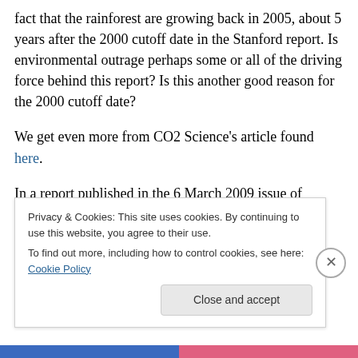fact that the rainforest are growing back in 2005, about 5 years after the 2000 cutoff date in the Stanford report. Is environmental outrage perhaps some or all of the driving force behind this report? Is this another good reason for the 2000 cutoff date?
We get even more from CO2 Science's article found here.
In a report published in the 6 March 2009 issue of Science, Oliver L. Phillips of the UK's University of Leeds and his 65 co-authors write that "old growth forests in Amazonia … through photosynthesis and respiration …
Privacy & Cookies: This site uses cookies. By continuing to use this website, you agree to their use.
To find out more, including how to control cookies, see here: Cookie Policy